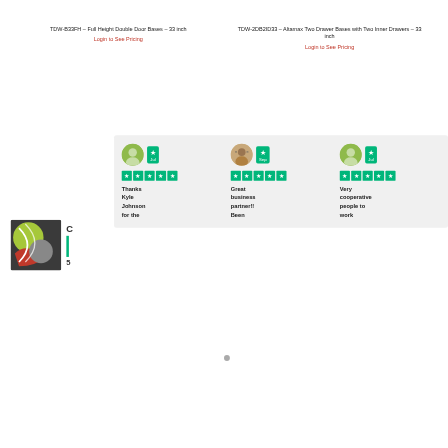TDW-B33FH – Full Height Double Door Bases – 33 inch
Login to See Pricing
TDW-2DB2ID33 – Altamax Two Drawer Bases with Two Inner Drawers – 33 inch
Login to See Pricing
Thanks Kyle Johnson for the
Great business partner!! Been
Very cooperative people to work
[Figure (screenshot): Trustpilot review widget with three review cards, each showing a user avatar, a green Trustpilot star badge with month label (Jul, Sep, Jul), five green star ratings, and partial review text.]
[Figure (logo): Company logo with colorful circular design in green, red, grey on dark background, with partial company name and green bar visible.]